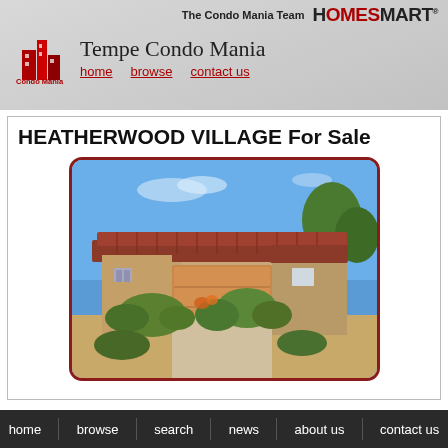The Condo Mania Team | HomeSmart
Tempe Condo Mania
home | browse | contact us
HEATHERWOOD VILLAGE For Sale
[Figure (photo): Exterior photo of a Southwest-style single-story home with a tan stucco exterior, red tile roof, large tan garage door, desert landscaping with green shrubs and gravel, and blue sky with light clouds.]
home | browse | search | news | about us | contact us